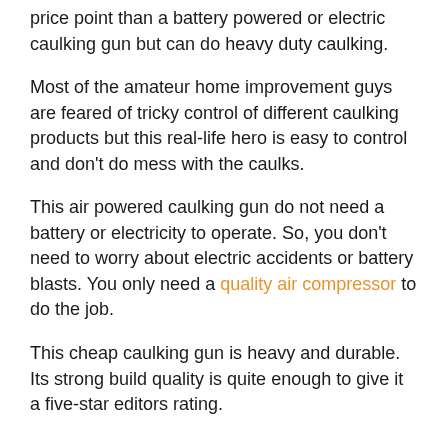price point than a battery powered or electric caulking gun but can do heavy duty caulking.
Most of the amateur home improvement guys are feared of tricky control of different caulking products but this real-life hero is easy to control and don't do mess with the caulks.
This air powered caulking gun do not need a battery or electricity to operate. So, you don't need to worry about electric accidents or battery blasts. You only need a quality air compressor to do the job.
This cheap caulking gun is heavy and durable. Its strong build quality is quite enough to give it a five-star editors rating.